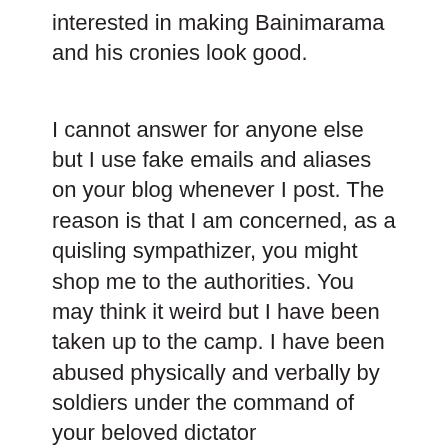interested in making Bainimarama and his cronies look good.
I cannot answer for anyone else but I use fake emails and aliases on your blog whenever I post. The reason is that I am concerned, as a quisling sympathizer, you might shop me to the authorities. You may think it weird but I have been taken up to the camp. I have been abused physically and verbally by soldiers under the command of your beloved dictator Bainimarama. My company has been targeted for all sorts of spurious reasons. My wife has been threatened, my phone has been tapped and I have at times been stopped from leaving Fiji. Not for any criminal activity, but because in the early days of this coup I was open in my opposition